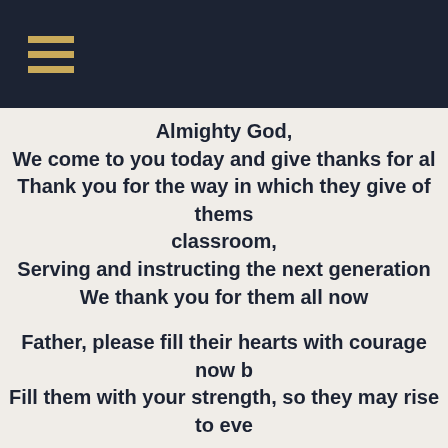Navigation header with hamburger menu icon
Almighty God,
We come to you today and give thanks for al[l]
Thank you for the way in which they give of thems[elves in the]
classroom,
Serving and instructing the next generation[.]
We thank you for them all now[.]

Father, please fill their hearts with courage now b[ecause]
Fill them with your strength, so they may rise to eve[ry challenge and not]
grow weary.
Fill them with your wisdom, so that they may be [guided in their]
judgement when guiding and helping[.]
Fill them with your peace, so that when stress an[d pressure]
would not overwhelm them.
Fill them with your joy, so that the passion they ha[ve]
may become a infectious passion that[.]

We ask all this in the wonderful name[...]
Amen.